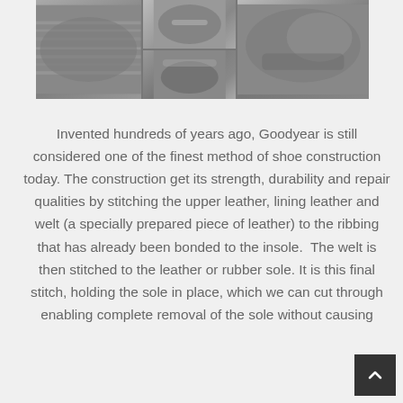[Figure (photo): Black and white photo collage showing three panels of people working with shoes/leather goods — left panel shows stacked materials, middle panel shows close-up hand work in two sub-panels, right panel shows a worker handling materials.]
Invented hundreds of years ago, Goodyear is still considered one of the finest method of shoe construction today. The construction get its strength, durability and repair qualities by stitching the upper leather, lining leather and welt (a specially prepared piece of leather) to the ribbing that has already been bonded to the insole.  The welt is then stitched to the leather or rubber sole. It is this final stitch, holding the sole in place, which we can cut through enabling complete removal of the sole without causing